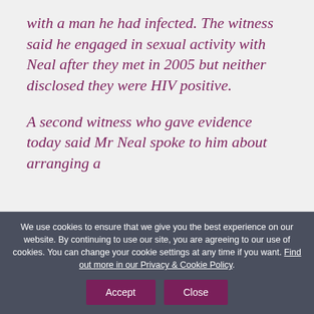with a man he had infected. The witness said he engaged in sexual activity with Neal after they met in 2005 but neither disclosed they were HIV positive.
A second witness who gave evidence today said Mr Neal spoke to him about arranging a
We use cookies to ensure that we give you the best experience on our website. By continuing to use our site, you are agreeing to our use of cookies. You can change your cookie settings at any time if you want. Find out more in our Privacy & Cookie Policy.